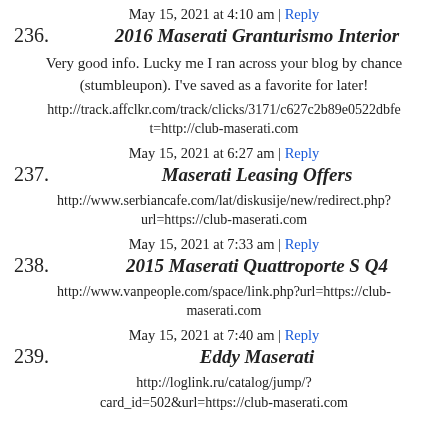May 15, 2021 at 4:10 am | Reply
236. 2016 Maserati Granturismo Interior
Very good info. Lucky me I ran across your blog by chance (stumbleupon). I've saved as a favorite for later!
http://track.affclkr.com/track/clicks/3171/c627c2b89e0522dbfe t=http://club-maserati.com
May 15, 2021 at 6:27 am | Reply
237. Maserati Leasing Offers
http://www.serbiancafe.com/lat/diskusije/new/redirect.php?url=https://club-maserati.com
May 15, 2021 at 7:33 am | Reply
238. 2015 Maserati Quattroporte S Q4
http://www.vanpeople.com/space/link.php?url=https://club-maserati.com
May 15, 2021 at 7:40 am | Reply
239. Eddy Maserati
http://loglink.ru/catalog/jump/?card_id=502&url=https://club-maserati.com